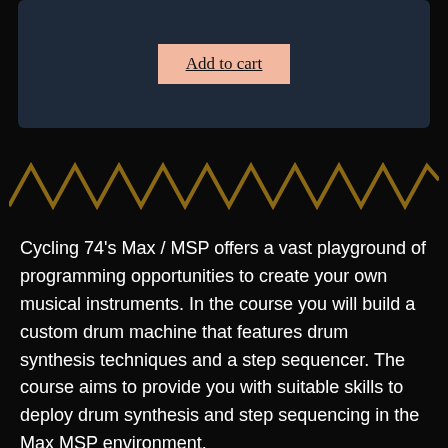[Figure (screenshot): Dark navy card with an Add to cart button (salmon/peach background with underline text)]
[Figure (illustration): Gold/dark-gold zigzag decorative divider line stretching across the full width]
Cycling 74's Max / MSP offers a vast playground of programming opportunities to create your own musical instruments. In the course you will build a custom drum machine that features drum synthesis techniques and a step sequencer. The course aims to provide you with suitable skills to deploy drum synthesis and step sequencing in the Max MSP environment.